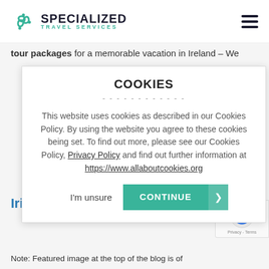SPECIALIZED TRAVEL SERVICES
tour packages for a memorable vacation in Ireland – We
COOKIES
This website uses cookies as described in our Cookies Policy. By using the website you agree to these cookies being set. To find out more, please see our Cookies Policy, Privacy Policy and find out further information at https://www.allaboutcookies.org
I'm unsure   CONTINUE
Irish Castles & Manors
[Figure (logo): reCAPTCHA badge with Privacy - Terms text]
Note: Featured image at the top of the blog is of